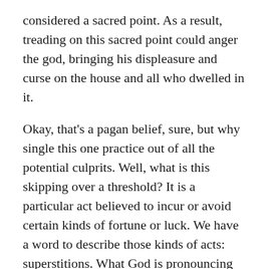considered a sacred point. As a result, treading on this sacred point could anger the god, bringing his displeasure and curse on the house and all who dwelled in it.
Okay, that's a pagan belief, sure, but why single this one practice out of all the potential culprits. Well, what is this skipping over a threshold? It is a particular act believed to incur or avoid certain kinds of fortune or luck. We have a word to describe those kinds of acts: superstitions. What God is pronouncing judgment on here is superstition.
Let that one sit on you for a minute.
Why would He bother doing this? Superstitions are